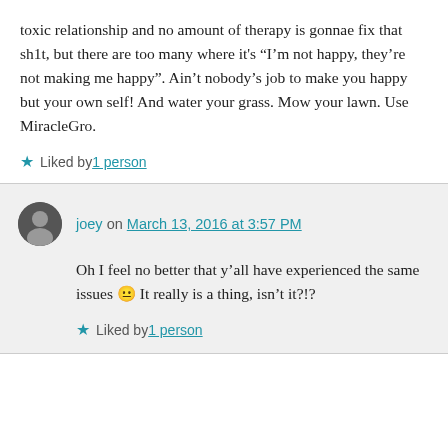toxic relationship and no amount of therapy is gonnae fix that sh1t, but there are too many where it's “I’m not happy, they’re not making me happy”. Ain’t nobody’s job to make you happy but your own self! And water your grass. Mow your lawn. Use MiracleGro.
★ Liked by 1 person
joey on March 13, 2016 at 3:57 PM
Oh I feel no better that y’all have experienced the same issues 😐 It really is a thing, isn’t it?!?
★ Liked by 1 person